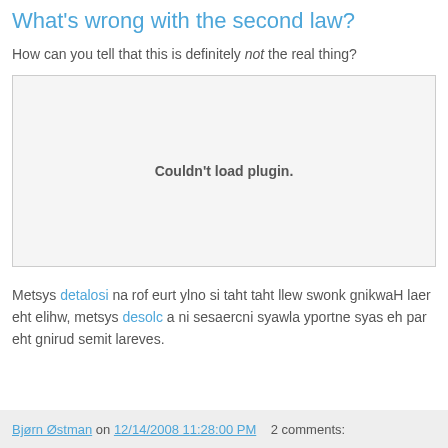What's wrong with the second law?
How can you tell that this is definitely not the real thing?
[Figure (other): Embedded plugin area showing 'Couldn't load plugin.' message]
Metsys detalosi na rof eurt ylno si taht taht llew swonk gnikwaH laer eht elihw, metsys desolc a ni sesaercni syawla yportne syas eh par eht gnirud semit lareves.
Bjørn Østman on 12/14/2008 11:28:00 PM   2 comments: